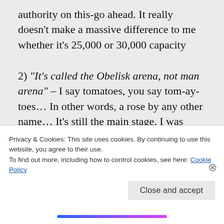authority on this-go ahead. It really doesn't make a massive difference to me whether it's 25,000 or 30,000 capacity
2) "It's called the Obelisk arena, not man arena" – I say tomatoes, you say tom-ay-toes… In other words, a rose by any other name… It's still the main stage. I was honest about the fact I've never been before-GET
Privacy & Cookies: This site uses cookies. By continuing to use this website, you agree to their use. To find out more, including how to control cookies, see here: Cookie Policy